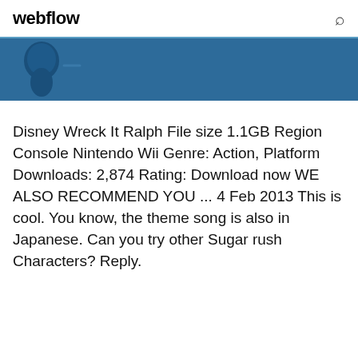webflow
[Figure (illustration): Dark blue banner with a partial stylized character figure on the left side against a blue background]
Disney Wreck It Ralph File size 1.1GB Region Console Nintendo Wii Genre: Action, Platform Downloads: 2,874 Rating: Download now WE ALSO RECOMMEND YOU ... 4 Feb 2013 This is cool. You know, the theme song is also in Japanese. Can you try other Sugar rush Characters? Reply.